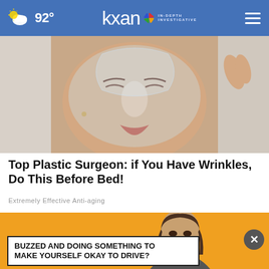92° kxan IN-DEPTH INVESTIGATIVE
[Figure (photo): Close-up of a woman receiving a facial treatment, face covered with a clear gel or mask being peeled off, eyes closed]
Top Plastic Surgeon: if You Have Wrinkles, Do This Before Bed!
Extremely Effective Anti-aging
[Figure (photo): Advertisement with yellow background showing a woman's face, with a close button (x) and a text box reading: BUZZED AND DOING SOMETHING TO MAKE YOURSELF OKAY TO DRIVE?]